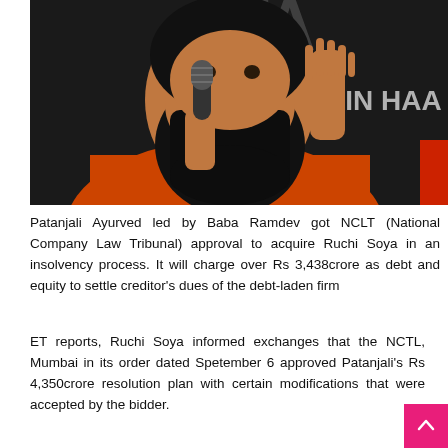[Figure (photo): A man with a long black beard wearing an orange robe, speaking into a microphone with hand raised. Background shows partial text 'TA' and 'AAYEIN HAA'. Partially obscured red banner on right.]
Patanjali Ayurved led by Baba Ramdev got NCLT (National Company Law Tribunal) approval to acquire Ruchi Soya in an insolvency process. It will charge over Rs 3,438crore as debt and equity to settle creditor's dues of the debt-laden firm
ET reports, Ruchi Soya informed exchanges that the NCTL, Mumbai in its order dated Spetember 6 approved Patanjali's Rs 4,350crore resolution plan with certain modifications that were accepted by the bidder.